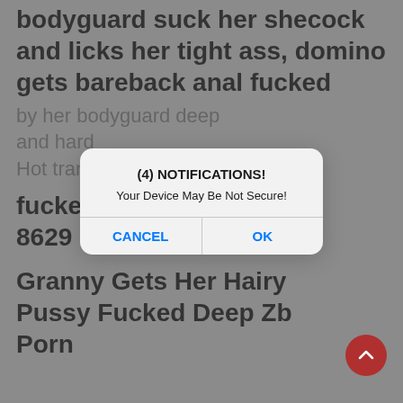bodyguard suck her shecock and licks her tight ass, domino gets bareback anal fucked
by her bodyguard deep and hard
[Figure (screenshot): A mobile browser alert dialog with title '(4) NOTIFICATIONS!' and body text 'Your Device May Be Not Secure!' with CANCEL and OK buttons]
Hot transexual getting fucked hard and deep-8629
Granny Gets Her Hairy Pussy Fucked Deep Zb Porn